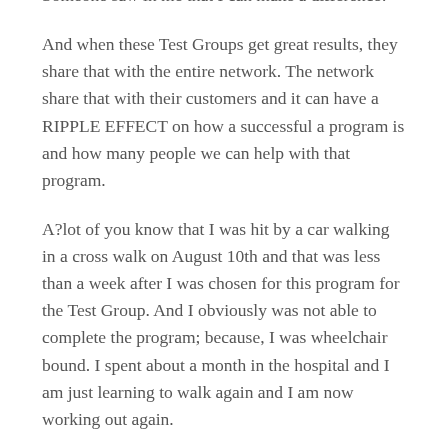Someone saw in me that I can make a difference!
And when these Test Groups get great results, they share that with the entire network. The network share that with their customers and it can have a RIPPLE EFFECT on how a successful a program is and how many people we can help with that program.
A?lot of you know that I was hit by a car walking in a cross walk on August 10th and that was less than a week after I was chosen for this program for the Test Group. And I obviously was not able to complete the program; because, I was wheelchair bound. I spent about a month in the hospital and I am just learning to walk again and I am now working out again.
I have been able to start the program and my results are AMAZING! I want to recreate the test group environment and invite you to JOIN my first ever pilot group and fully commit to the program and get results before New Years! Want to join? Email me